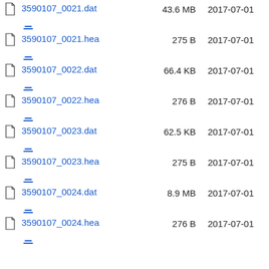3590107_0021.dat  43.6 MB  2017-07-01
3590107_0021.hea  275 B  2017-07-01
3590107_0022.dat  66.4 KB  2017-07-01
3590107_0022.hea  276 B  2017-07-01
3590107_0023.dat  62.5 KB  2017-07-01
3590107_0023.hea  275 B  2017-07-01
3590107_0024.dat  8.9 MB  2017-07-01
3590107_0024.hea  276 B  2017-07-01